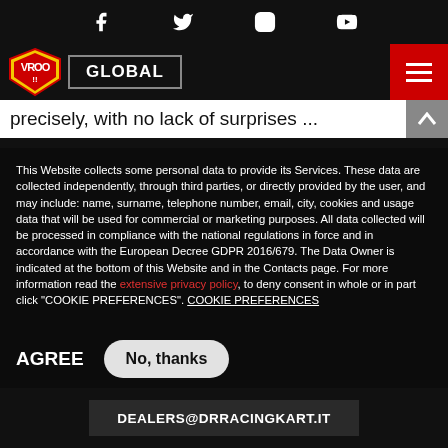Social icons: Facebook, Twitter, Instagram, YouTube
[Figure (logo): VROO!! logo shield with GLOBAL button and hamburger menu]
precisely, with no lack of surprises ...
This Website collects some personal data to provide its Services. These data are collected independently, through third parties, or directly provided by the user, and may include: name, surname, telephone number, email, city, cookies and usage data that will be used for commercial or marketing purposes. All data collected will be processed in compliance with the national regulations in force and in accordance with the European Decree GDPR 2016/679. The Data Owner is indicated at the bottom of this Website and in the Contacts page. For more information read the extensive privacy policy, to deny consent in whole or in part click "COOKIE PREFERENCES". COOKIE PREFERENCES
DEALERS@DRRACINGKART.IT